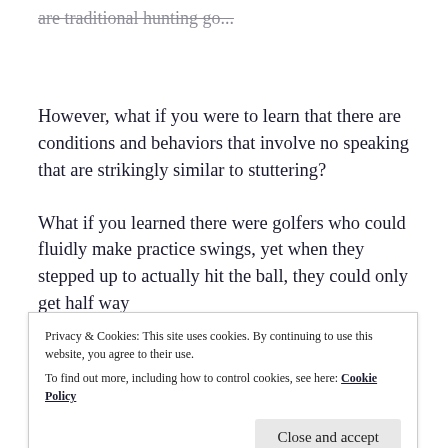are traditional hunting go...
However, what if you were to learn that there are conditions and behaviors that involve no speaking that are strikingly similar to stuttering?
What if you learned there were golfers who could fluidly make practice swings, yet when they stepped up to actually hit the ball, they could only get half way
Privacy & Cookies: This site uses cookies. By continuing to use this website, you agree to their use.
To find out more, including how to control cookies, see here: Cookie Policy
Close and accept
through to the... during their...